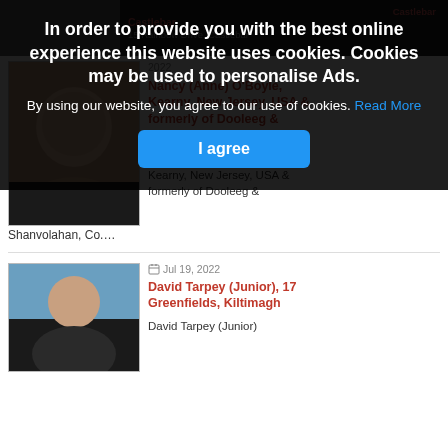[Figure (screenshot): Screenshot of a website with cookie consent banner overlay on top of obituary/memorial listings. The background shows two listing entries with photos of deceased individuals. The cookie banner is a dark semi-transparent overlay with white bold text stating the cookie policy and a blue 'I agree' button.]
In order to provide you with the best online experience this website uses cookies. Cookies may be used to personalise Ads.
By using our website, you agree to our use of cookies. Read More
I agree
Castlebar
2022
Nancy (Anne) O'Boyle, Kearny, New Jersey, USA & formerly of Dooleeg & Shanvolahan, Co. Mayo
Nancy (Anne) O'Boyle
Kearny, New Jersey, USA & formerly of Dooleeg & Shanvolahan, Co....
Jul 19, 2022
David Tarpey (Junior), 17 Greenfields, Kiltimagh
David Tarpey (Junior)